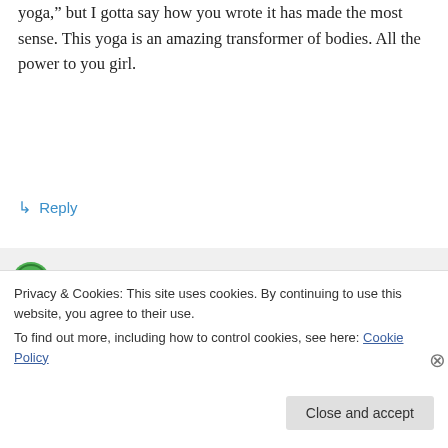yoga,” but I gotta say how you wrote it has made the most sense. This yoga is an amazing transformer of bodies. All the power to you girl.
↳ Reply
heather3g on January 21, 2014 at 1:57 pm
Thank you Susan, I am glad my explanation of my yoga experience has resonated with you. I would encourage you
Privacy & Cookies: This site uses cookies. By continuing to use this website, you agree to their use.
To find out more, including how to control cookies, see here: Cookie Policy
Close and accept